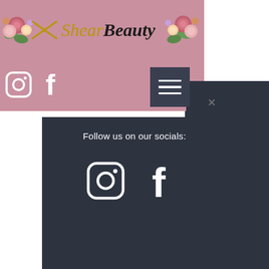[Figure (logo): Shear Beauty salon logo with scissors icon and floral decorations on pink background]
[Figure (illustration): Instagram and Facebook social media icons in pink header]
[Figure (illustration): Hamburger menu button (dark gray with three white lines)]
Follow us on our socials:
[Figure (illustration): Instagram and Facebook social media icons on dark background]